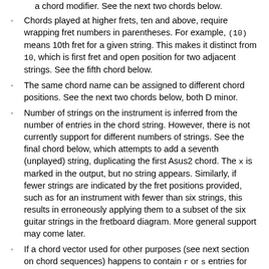Chords played at higher frets, ten and above, require wrapping fret numbers in parentheses. For example, (10) means 10th fret for a given string. This makes it distinct from 10, which is first fret and open position for two adjacent strings. See the fifth chord below.
The same chord name can be assigned to different chord positions. See the next two chords below, both D minor.
Number of strings on the instrument is inferred from the number of entries in the chord string. However, there is not currently support for different numbers of strings. See the final chord below, which attempts to add a seventh (unplayed) string, duplicating the first Asus2 chord. The x is marked in the output, but no string appears. Similarly, if fewer strings are indicated by the fret positions provided, such as for an instrument with fewer than six strings, this results in erroneously applying them to a subset of the six guitar strings in the fretboard diagram. More general support may come later.
If a chord vector used for other purposes (see next section on chord sequences) happens to contain r or s entries for rests or silent rests, they are passed through